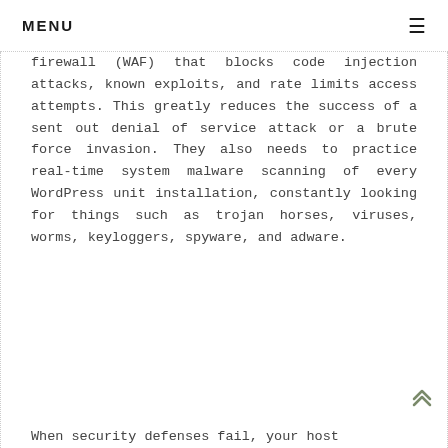MENU ≡
firewall (WAF) that blocks code injection attacks, known exploits, and rate limits access attempts. This greatly reduces the success of a sent out denial of service attack or a brute force invasion. They also needs to practice real-time system malware scanning of every WordPress unit installation, constantly looking for things such as trojan horses, viruses, worms, keyloggers, spyware, and adware.
When security defenses fail, your host